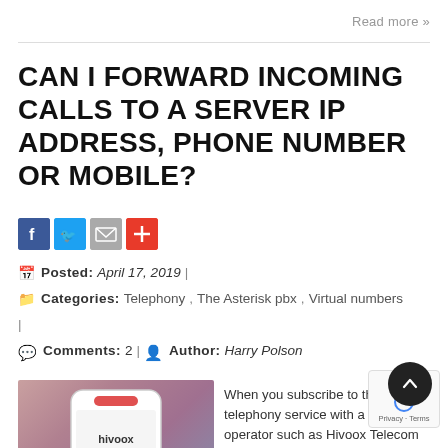Read more »
CAN I FORWARD INCOMING CALLS TO A SERVER IP ADDRESS, PHONE NUMBER OR MOBILE?
[Figure (infographic): Social share buttons: Facebook (blue), Twitter (light blue), Email (grey), Plus/share (red)]
Posted: April 17, 2019 |
Categories: Telephony, The Asterisk pbx, Virtual numbers |
Comments: 2 | Author: Harry Polson
[Figure (photo): Smartphone showing Hivoox branding on a gradient pink/purple background, with a green Help Desk Ticket button at the bottom]
When you subscribe to the IP telephony service with a voip operator such as Hivoox Telecom and you are a small business or